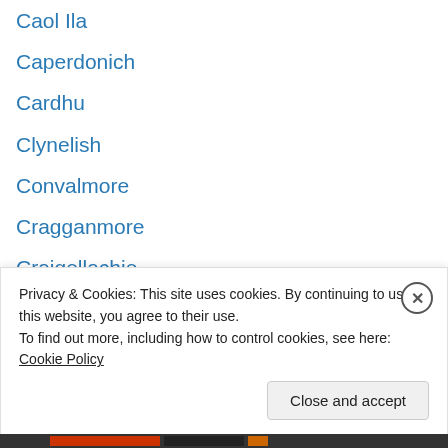Caol Ila
Caperdonich
Cardhu
Clynelish
Convalmore
Cragganmore
Craigellachie
Dailuaine
Dallas Dhu
Dalmore (The)
Deanston
Dufftown
Edradour
Fettercairn (Old)
Privacy & Cookies: This site uses cookies. By continuing to use this website, you agree to their use. To find out more, including how to control cookies, see here: Cookie Policy
Close and accept